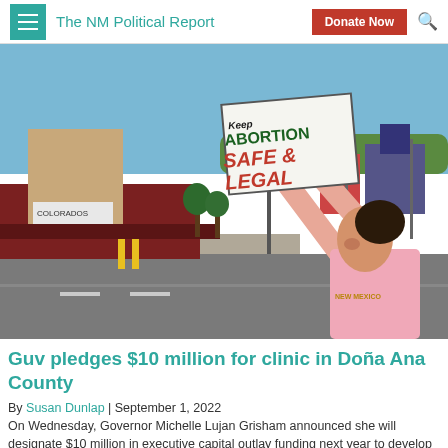The NM Political Report | Donate Now
[Figure (photo): A woman in a pink shirt holds up a sign reading 'Keep Abortion Safe Legal' at a street intersection, with storefronts and a traffic light visible in the background.]
Guv pledges $10 million for clinic in Doña Ana County
By Susan Dunlap | September 1, 2022
On Wednesday, Governor Michelle Lujan Grisham announced she will designate $10 million in executive capital outlay funding next year to develop a new